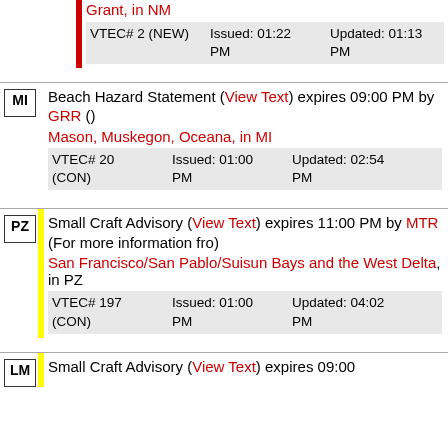Grant, in NM
| VTEC# 2 (NEW) | Issued: 01:22 PM | Updated: 01:13 PM |
Beach Hazard Statement (View Text) expires 09:00 PM by GRR ()
Mason, Muskegon, Oceana, in MI
| VTEC# 20 (CON) | Issued: 01:00 PM | Updated: 02:54 PM |
Small Craft Advisory (View Text) expires 11:00 PM by MTR (For more information fro)
San Francisco/San Pablo/Suisun Bays and the West Delta, in PZ
| VTEC# 197 (CON) | Issued: 01:00 PM | Updated: 04:02 PM |
Small Craft Advisory (View Text) expires 09:00